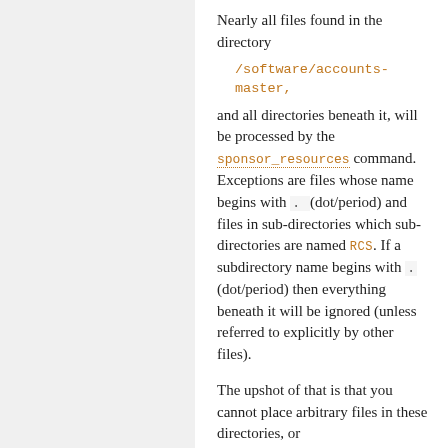Nearly all files found in the directory
/software/accounts-master,
and all directories beneath it, will be processed by the sponsor_resources command. Exceptions are files whose name begins with . (dot/period) and files in sub-directories which sub-directories are named RCS. If a subdirectory name begins with . (dot/period) then everything beneath it will be ignored (unless referred to explicitly by other files).
The upshot of that is that you cannot place arbitrary files in these directories, or